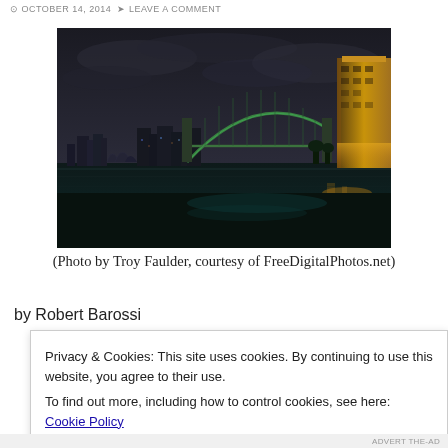OCTOBER 14, 2014  LEAVE A COMMENT
[Figure (photo): Night photograph of Sydney Harbour Bridge and Opera House with city skyline reflected in harbor water, dark stormy sky, illuminated bridge and tower]
(Photo by Troy Faulder, courtesy of FreeDigitalPhotos.net)
by Robert Barossi
Privacy & Cookies: This site uses cookies. By continuing to use this website, you agree to their use.
To find out more, including how to control cookies, see here: Cookie Policy
Close and accept